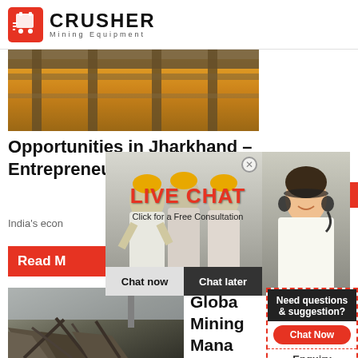[Figure (logo): CRUSHER Mining Equipment logo with red shopping bag icon]
[Figure (photo): Orange industrial crane/manufacturing facility interior]
Opportunities in Jharkhand – Entrepreneur India
[Figure (screenshot): 24Hrs Online badge in red]
India's econ
[Figure (photo): Live Chat popup overlay with workers in hard hats and LIVE CHAT text, Click for a Free Consultation, Chat now and Chat later buttons, and customer service agent photo]
Read M
[Figure (infographic): Right sidebar with Need questions & suggestion? Chat Now button, Enquiry, limingjlmofen@sina.com]
[Figure (photo): Demolished building/construction site photo]
Globa Mining Mana